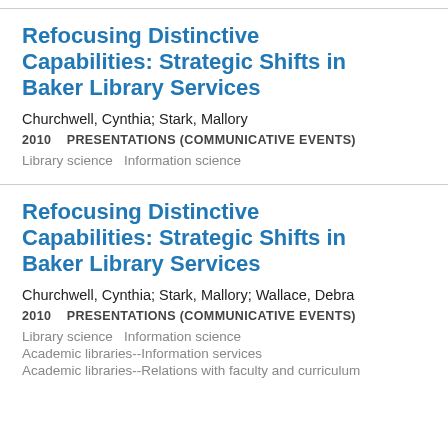Refocusing Distinctive Capabilities: Strategic Shifts in Baker Library Services
Churchwell, Cynthia; Stark, Mallory
2010    PRESENTATIONS (COMMUNICATIVE EVENTS)
Library science    Information science
Refocusing Distinctive Capabilities: Strategic Shifts in Baker Library Services
Churchwell, Cynthia; Stark, Mallory; Wallace, Debra
2010    PRESENTATIONS (COMMUNICATIVE EVENTS)
Library science    Information science
Academic libraries--Information services
Academic libraries--Relations with faculty and curriculum